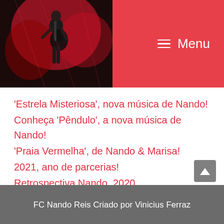Menu
[Figure (photo): Photo of a performer on stage with a guitar against a red-lit background]
'Estrela Misteriosa', nova música de Nando!
Conheça 'Pêndulo', a nova música de Nando!
'Praia Vermelha', de Nando & Marisa!
2021, ano de parcerias!
Retrospectiva Nando, 2020
Retrospectiva, Nando 2019
Música nova, conheça 'Macapá'
FC Nando Reis Criado por Vinicius Ferraz